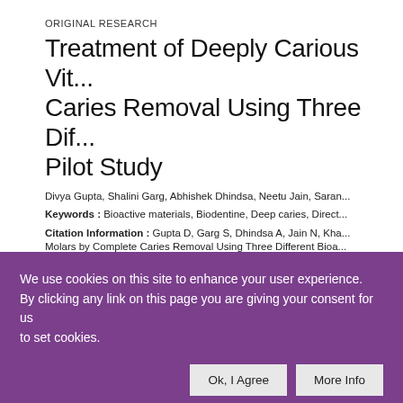ORIGINAL RESEARCH
Treatment of Deeply Carious Vit... Caries Removal Using Three Dif... Pilot Study
Divya Gupta, Shalini Garg, Abhishek Dhindsa, Neetu Jain, Saran...
Keywords : Bioactive materials, Biodentine, Deep caries, Direct...
Citation Information : Gupta D, Garg S, Dhindsa A, Jain N, Kha... Molars by Complete Caries Removal Using Three Different Bioa...
DOI: 10.5005/jp-journals-10015-2061
License: CC BY-NC 4.0
Published Online: 18-06-2022
We use cookies on this site to enhance your user experience. By clicking any link on this page you are giving your consent for us to set cookies.